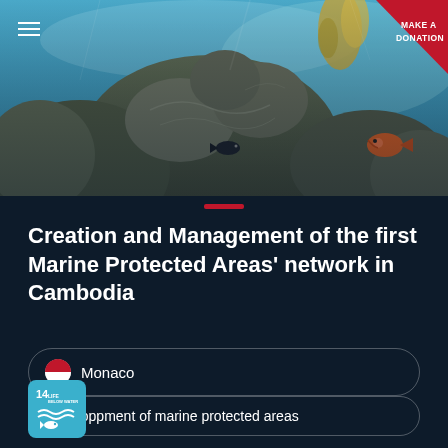[Figure (photo): Underwater photograph of coral reef with green/grey brain corals and an orange fish visible, blue water background]
Creation and Management of the first Marine Protected Areas' network in Cambodia
Monaco
Developpment of marine protected areas
[Figure (logo): UN SDG Goal 14 - Life Below Water icon, light blue square with fish and wave symbol]